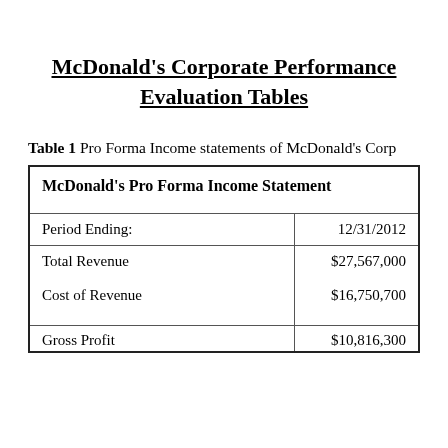McDonald's Corporate Performance Evaluation Tables
Table 1 Pro Forma Income statements of McDonald's Corp
| McDonald's Pro Forma Income Statement |  |
| --- | --- |
| Period Ending: | 12/31/2012 |
| Total Revenue

Cost of Revenue | $27,567,000

$16,750,700 |
| Gross Profit | $10,816,300 |